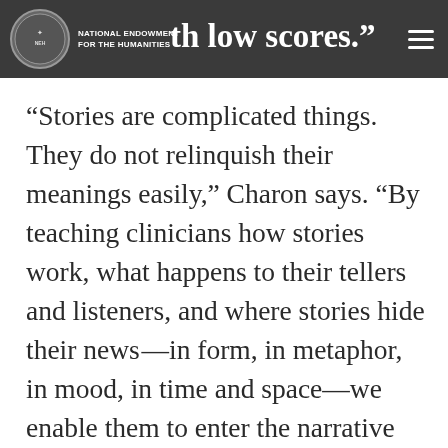th low scores.
“Stories are complicated things. They do not relinquish their meanings easily,” Charon says. “By teaching clinicians how stories work, what happens to their tellers and listeners, and where stories hide their news—in form, in metaphor, in mood, in time and space—we enable them to enter the narrative worlds described by their patients. So clinicians can receive what their patients reveal about their lives and health, leading to accurate clinical diagnoses and personal